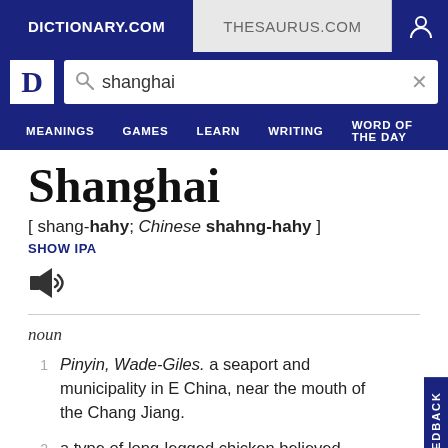DICTIONARY.COM | THESAURUS.COM
[Figure (screenshot): Dictionary.com website header with logo, search bar containing 'shanghai', and navigation menu with MEANINGS, GAMES, LEARN, WRITING, WORD OF THE DAY]
Shanghai
[ shang-hahy; Chinese shahng-hahy ]
SHOW IPA
noun
Pinyin, Wade-Giles. a seaport and municipality in E China, near the mouth of the Chang Jiang.
a type of long-legged chicken believed